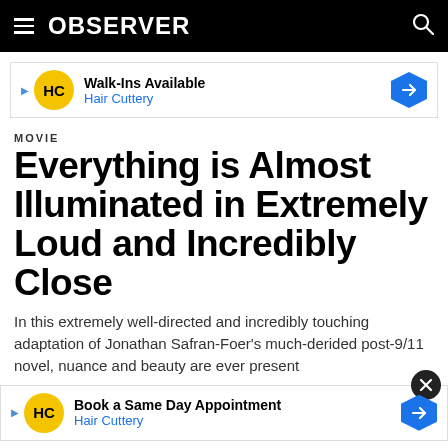OBSERVER
[Figure (other): Hair Cuttery advertisement banner: Walk-Ins Available]
MOVIE
Everything is Almost Illuminated in Extremely Loud and Incredibly Close
In this extremely well-directed and incredibly touching adaptation of Jonathan Safran-Foer's much-derided post-9/11 novel, nuance and beauty are ever present
[Figure (other): Hair Cuttery advertisement banner: Book a Same Day Appointment]